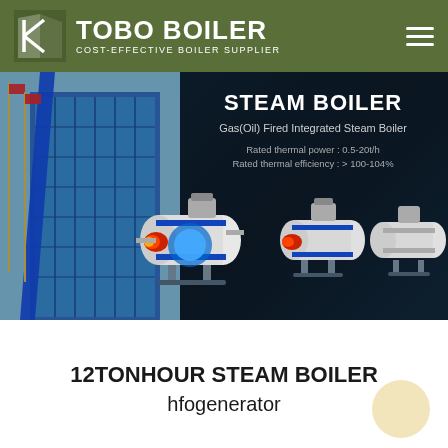TOBO BOILER — COST-EFFECTIVE BOILER SUPPLIER
[Figure (screenshot): Hero banner showing Steam Boiler product — Gas(Oil) Fired Integrated Steam Boiler with specs: Rated thermal power 0.5-20t/h, Rated thermal efficiency >100-104%. Left side shows a building photo; center shows multiple blue-and-white industrial steam boilers on a dark navy background.]
12TONHOUR STEAM BOILER
hfogenerator